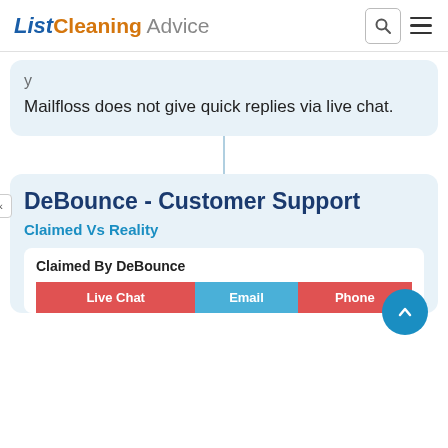List Cleaning Advice
Mailfloss does not give quick replies via live chat.
DeBounce - Customer Support
Claimed Vs Reality
| Live Chat | Email | Phone |
| --- | --- | --- |